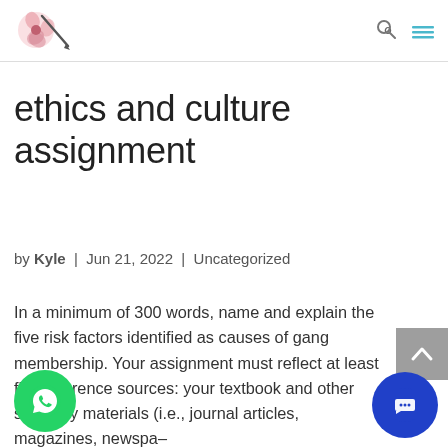Site logo and navigation with search and menu icons
ethics and culture assignment
by Kyle  |  Jun 21, 2022  |  Uncategorized
In a minimum of 300 words, name and explain the five risk factors identified as causes of gang membership. Your assignment must reflect at least five reference sources: your textbook and other scholarly materials (i.e., journal articles, magazines, newspapers, articles, webpage, dictionaries, thesauruses, or encyclopedias.). APA formatted paragraphs with in-text